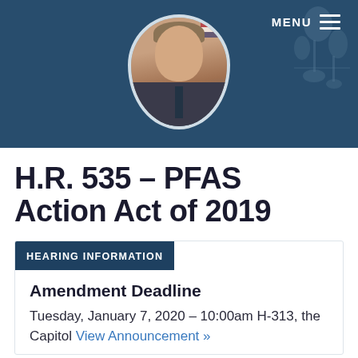[Figure (photo): Congressional website header with photo of a male legislator in a suit against a dark teal background, with circular portrait framing and a MENU button in the top right.]
H.R. 535 – PFAS Action Act of 2019
HEARING INFORMATION
Amendment Deadline
Tuesday, January 7, 2020 – 10:00am H-313, the Capitol View Announcement »